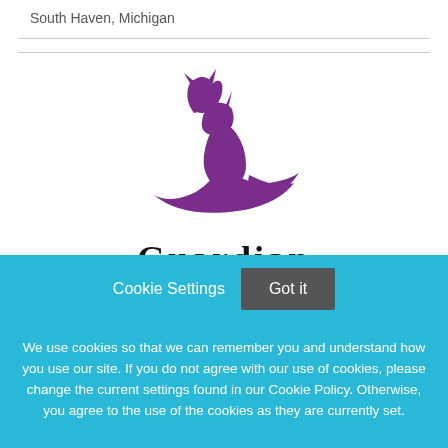South Haven, Michigan
[Figure (logo): Guardian Veterinary Specialists logo: purple silhouette of a hand holding a cat and dog, with 'GUARDIAN' in bold serif text below and 'VETERINARY SPECIALISTS' in small caps beneath]
Cookie Settings   Got it
We use cookies so that we can remember you and understand how you use our site. If you do not agree with our use of cookies, please change the current settings found in our Cookie Policy. Otherwise, you agree to the use of the cookies as they are currently set.